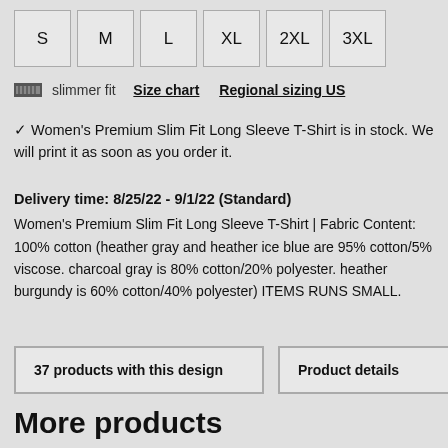S | M | L | XL | 2XL | 3XL
slimmer fit  Size chart  Regional sizing US
✓ Women's Premium Slim Fit Long Sleeve T-Shirt is in stock. We will print it as soon as you order it.
Delivery time: 8/25/22 - 9/1/22 (Standard)
Women's Premium Slim Fit Long Sleeve T-Shirt | Fabric Content: 100% cotton (heather gray and heather ice blue are 95% cotton/5% viscose. charcoal gray is 80% cotton/20% polyester. heather burgundy is 60% cotton/40% polyester) ITEMS RUNS SMALL.
37 products with this design
Product details
More products